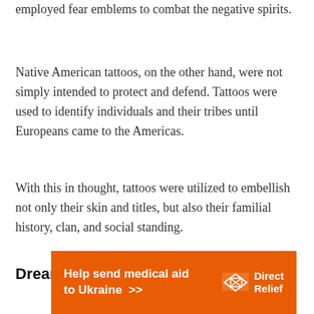employed fear emblems to combat the negative spirits.
Native American tattoos, on the other hand, were not simply intended to protect and defend. Tattoos were used to identify individuals and their tribes until Europeans came to the Americas.
With this in thought, tattoos were utilized to embellish not only their skin and titles, but also their familial history, clan, and social standing.
Dreamcatchers
[Figure (other): Orange advertisement banner for Direct Relief: 'Help send medical aid to Ukraine >>' with Direct Relief logo on right side]